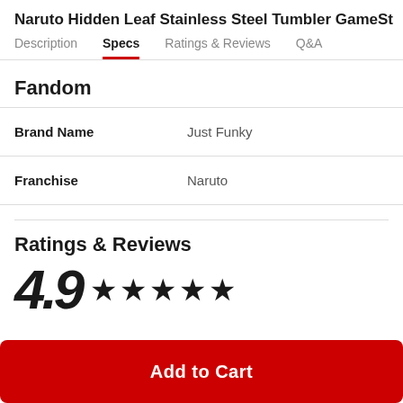Naruto Hidden Leaf Stainless Steel Tumbler GameSt
Description | Specs | Ratings & Reviews | Q&A
Fandom
|  |  |
| --- | --- |
| Brand Name | Just Funky |
| Franchise | Naruto |
Ratings & Reviews
4.9 ★★★★½
Add to Cart